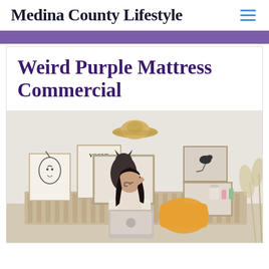Medina County Lifestyle
Weird Purple Mattress Commercial
[Figure (photo): Young woman with glasses sitting on a couch in a stylish room, working on a laptop. Behind her are multiple framed art prints including a Vogue magazine cover, a line-art face, and a bird photograph. A straw hat is mounted on the wall above. She has a yellow/orange pillow beside her. Pampas grass is visible on the right side.]